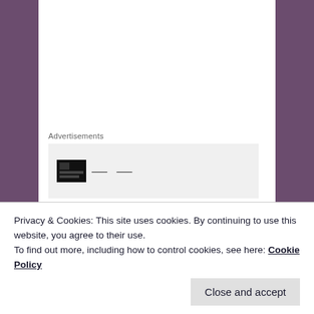Advertisements
[Figure (other): Advertisement placeholder box with a small dark icon and ellipsis dots on a light gray background]
But that changed once came to the conclusion that—  if I trust my intuition when it comes to those types of situations, I usually end up where I want to be (even if it's months, or in some cases, YEARS later). Sometimes my gut tells me to stick it out. A handful of times my gut has told me to just give up. Usually when that happens, another door opens up down the road. I must admit,
Privacy & Cookies: This site uses cookies. By continuing to use this website, you agree to their use.
To find out more, including how to control cookies, see here: Cookie Policy